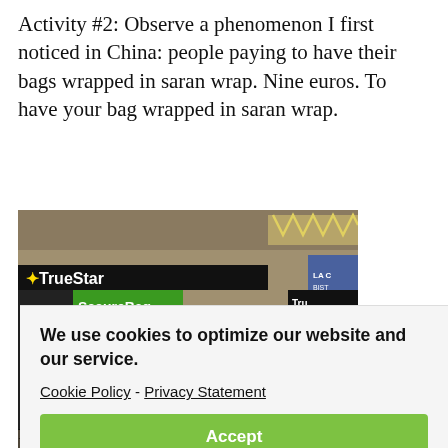Activity #2: Observe a phenomenon I first noticed in China: people paying to have their bags wrapped in saran wrap. Nine euros. To have your bag wrapped in saran wrap.
[Figure (photo): Airport baggage wrapping service kiosk with TrueStar and SecureBag branding. A green booth with people visible in the background of what appears to be an airport terminal.]
We use cookies to optimize our website and our service.
Cookie Policy - Privacy Statement
Accept
figure out the exchange rate and then realize that we